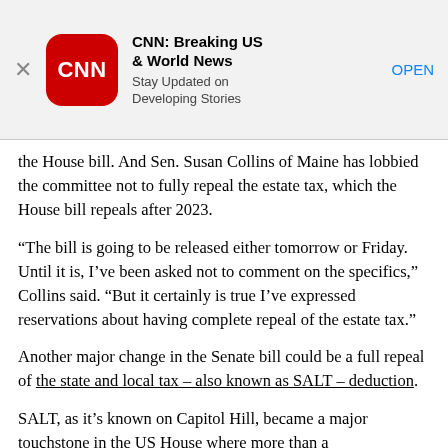[Figure (screenshot): CNN app advertisement banner showing CNN logo (red rounded square with white CNN text), app name 'CNN: Breaking US & World News', tagline 'Stay Updated on Developing Stories', and an OPEN button. A close (X) button is at the left.]
the House bill. And Sen. Susan Collins of Maine has lobbied the committee not to fully repeal the estate tax, which the House bill repeals after 2023.
“The bill is going to be released either tomorrow or Friday. Until it is, I’ve been asked not to comment on the specifics,” Collins said. “But it certainly is true I’ve expressed reservations about having complete repeal of the estate tax.”
Another major change in the Senate bill could be a full repeal of the state and local tax – also known as SALT – deduction.
SALT, as it’s known on Capitol Hill, became a major touchstone in the US House where more than a